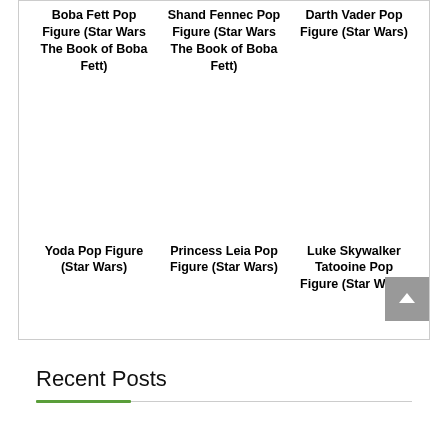Boba Fett Pop Figure (Star Wars The Book of Boba Fett)
Shand Fennec Pop Figure (Star Wars The Book of Boba Fett)
Darth Vader Pop Figure (Star Wars)
Yoda Pop Figure (Star Wars)
Princess Leia Pop Figure (Star Wars)
Luke Skywalker Tatooine Pop Figure (Star Wars)
Recent Posts